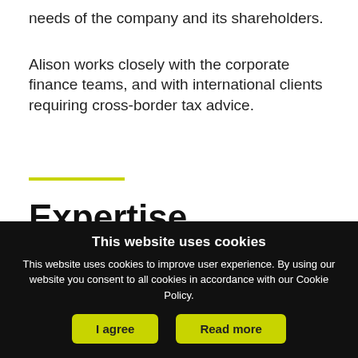needs of the company and its shareholders.
Alison works closely with the corporate finance teams, and with international clients requiring cross-border tax advice.
Expertise
Service:
Tax | Corporate Tax
This website uses cookies
This website uses cookies to improve user experience. By using our website you consent to all cookies in accordance with our Cookie Policy.
I agree
Read more